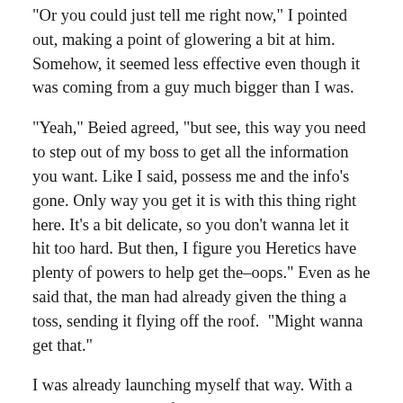“Or you could just tell me right now,” I pointed out, making a point of glowering a bit at him. Somehow, it seemed less effective even though it was coming from a guy much bigger than I was.
“Yeah,” Beied agreed, “but see, this way you need to step out of my boss to get all the information you want. Like I said, possess me and the info’s gone. Only way you get it is with this thing right here. It’s a bit delicate, so you don’t wanna let it hit too hard. But then, I figure you Heretics have plenty of powers to help get the–oops.” Even as he said that, the man had already given the thing a toss, sending it flying off the roof.  “Might wanna get that.”
I was already launching myself that way. With a curse, I lunged out of the man I was possessing, once more leaving an unconscious host to collapse while I dove off